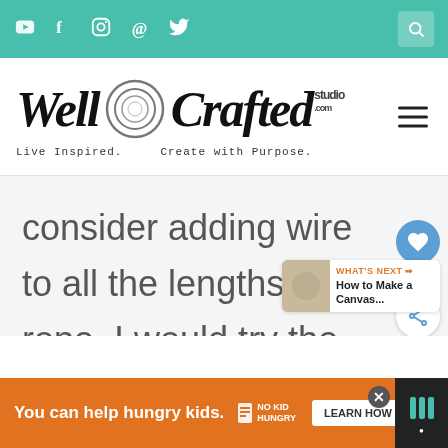Social icons (YouTube, Facebook, Instagram, Pinterest, Twitter) and search icon on teal bar
[Figure (logo): Well Crafted Studio logo with script text and circular graphic, tagline: Live Inspired. Create with Purpose.]
consider adding wire to all the lengths of rope. I would try the first piece and see what you think.
WHAT'S NEXT → How to Make a Canvas...
[Figure (infographic): Orange ad banner: You can help hungry kids. No Kid Hungry. LEARN HOW]